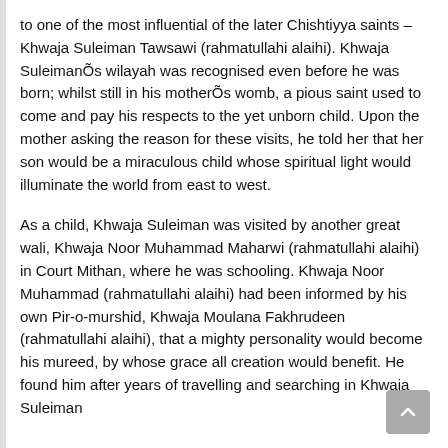to one of the most influential of the later Chishtiyya saints – Khwaja Suleiman Tawsawi (rahmatullahi alaihi). Khwaja SuleimanÕs wilayah was recognised even before he was born; whilst still in his motherÕs womb, a pious saint used to come and pay his respects to the yet unborn child. Upon the mother asking the reason for these visits, he told her that her son would be a miraculous child whose spiritual light would illuminate the world from east to west.
As a child, Khwaja Suleiman was visited by another great wali, Khwaja Noor Muhammad Maharwi (rahmatullahi alaihi) in Court Mithan, where he was schooling. Khwaja Noor Muhammad (rahmatullahi alaihi) had been informed by his own Pir-o-murshid, Khwaja Moulana Fakhrudeen (rahmatullahi alaihi), that a mighty personality would become his mureed, by whose grace all creation would benefit. He found him after years of travelling and searching in Khwaja Suleiman